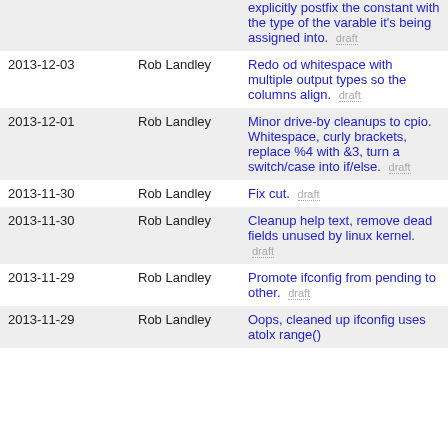| Date | Author | Message |
| --- | --- | --- |
|  |  | explicitly postfix the constant with the type of the varable it's being assigned into. [draft] |
| 2013-12-03 | Rob Landley | Redo od whitespace with multiple output types so the columns align. [draft] |
| 2013-12-01 | Rob Landley | Minor drive-by cleanups to cpio. Whitespace, curly brackets, replace %4 with &3, turn a switch/case into if/else. [draft] |
| 2013-11-30 | Rob Landley | Fix cut. [draft] |
| 2013-11-30 | Rob Landley | Cleanup help text, remove dead fields unused by linux kernel. [draft] |
| 2013-11-29 | Rob Landley | Promote ifconfig from pending to other. [draft] |
| 2013-11-29 | Rob Landley | Oops, cleaned up ifconfig uses atolx range() |